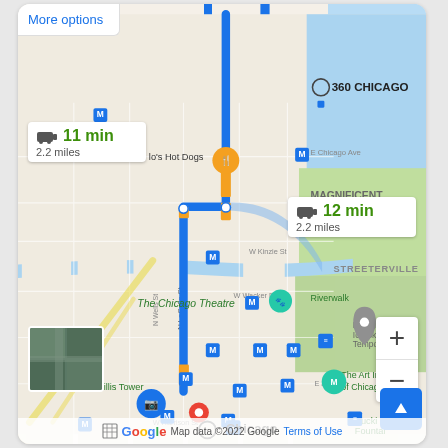[Figure (map): Google Maps screenshot showing driving directions in Chicago from 360 CHICAGO to Chicago destination marker. Route shown as blue line traveling south along N Dearborn St and N LaSalle St through Magnificent Mile, Streeterville, Riverwalk area, past The Chicago Theatre, W Wacker Dr, W Kinzie St to Chicago destination. Orange markers indicate construction/traffic. Multiple M subway markers and bus markers shown. Notable landmarks: 360 CHICAGO, Magnificent Mile, Streeterville, The Chicago Theatre, Riverwalk, Willis Tower, The Art Institute of Chicago, Maggi Ice Sk (Millennium Park area), Buckingham Fountain. Two route time boxes: 11 min / 2.2 miles and 12 min / 2.2 miles.]
More options
11 min
2.2 miles
12 min
2.2 miles
360 CHICAGO
MAGNIFICENT MILE
STREETERVILLE
The Chicago Theatre
Riverwalk
Willis Tower
The Art Institute of Chicago
Chicago
Buckingham Fountain
Map data ©2022 Google  Terms of Use